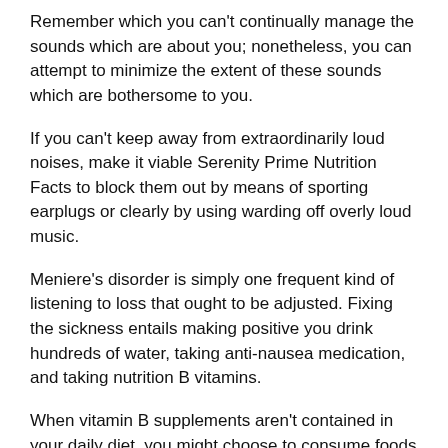Remember which you can't continually manage the sounds which are about you; nonetheless, you can attempt to minimize the extent of these sounds which are bothersome to you.
If you can't keep away from extraordinarily loud noises, make it viable Serenity Prime Nutrition Facts to block them out by means of sporting earplugs or clearly by using warding off overly loud music.
Meniere's disorder is simply one frequent kind of listening to loss that ought to be adjusted. Fixing the sickness entails making positive you drink hundreds of water, taking anti-nausea medication, and taking nutrition B vitamins.
When vitamin B supplements aren't contained in your daily diet, you might choose to consume foods full of Vitamin B. Sensorineural hearing loss frequently Serenity Prime Price happens because of being subjected to extremely loud sounds.